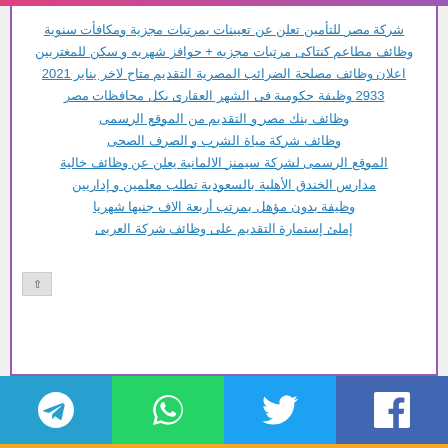شركة مصر للتأمين تعلن عن تعيينات بمرتبات مجزية ومكافأت سنوية
وظائف مطاعم كنتاكى مرتبات مجزيه + حوافز شهريه و سكن للمغتربين
اعلان وظائف مصلحة الضرائب المصرية التقديم متاح لاخر يناير 2021
2933 وظيفة حكومية فى الشهر العقارى بكل محافظات مصر
وظائف بنك مصر و التقديم من الموقع الرسمى
وظائف شركة مياة الشرب و الصرف الصحى
الموقع الرسمى لشركة سيمنز الالمانية يعلن عن وظائف خالية
مدارس الخندق الأهلية بالسعودية تطلب معلمين و إداريين
وظيفة بدون مؤهل بمرتب أربعة الاف جنبها شهريا
إملئ إستمارة التقديم على وظائف شركة العربى